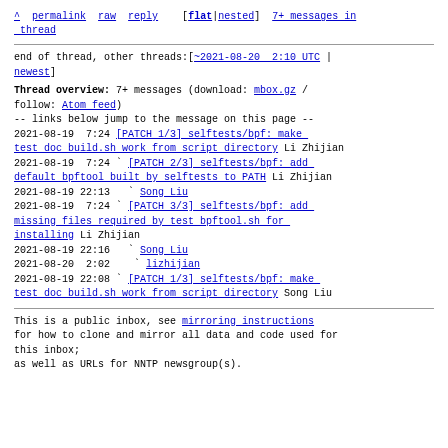^ permalink raw reply [flat|nested] 7+ messages in thread
end of thread, other threads:[~2021-08-20 2:10 UTC | newest]
Thread overview: 7+ messages (download: mbox.gz / follow: Atom feed)
-- links below jump to the message on this page --
2021-08-19 7:24 [PATCH 1/3] selftests/bpf: make test doc build.sh work from script directory Li Zhijian
2021-08-19 7:24 ` [PATCH 2/3] selftests/bpf: add default bpftool built by selftests to PATH Li Zhijian
2021-08-19 22:13 ` Song Liu
2021-08-19 7:24 ` [PATCH 3/3] selftests/bpf: add missing files required by test bpftool.sh for installing Li Zhijian
2021-08-19 22:16 ` Song Liu
2021-08-20 2:02 ` lizhijian
2021-08-19 22:08 ` [PATCH 1/3] selftests/bpf: make test doc build.sh work from script directory Song Liu
This is a public inbox, see mirroring instructions
for how to clone and mirror all data and code used for this inbox;
as well as URLs for NNTP newsgroup(s).